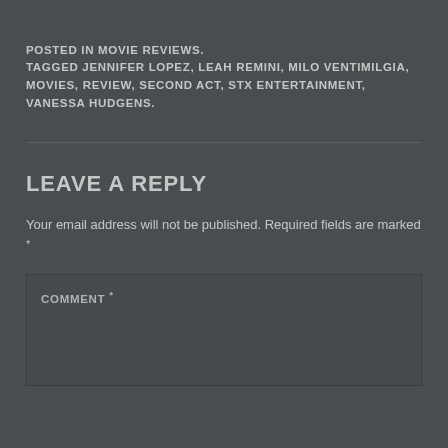POSTED IN MOVIE REVIEWS.
TAGGED JENNIFER LOPEZ, LEAH REMINI, MILO VENTIMILGIA, MOVIES, REVIEW, SECOND ACT, STX ENTERTAINMENT, VANESSA HUDGENS.
LEAVE A REPLY
Your email address will not be published. Required fields are marked *
COMMENT *